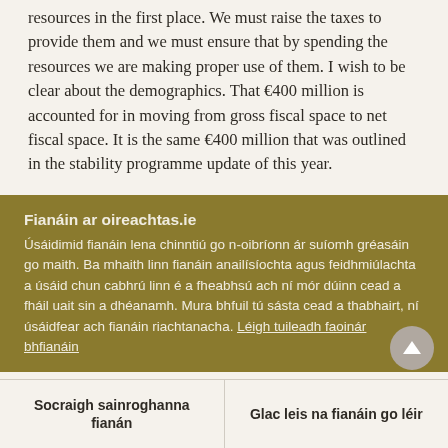resources in the first place. We must raise the taxes to provide them and we must ensure that by spending the resources we are making proper use of them. I wish to be clear about the demographics. That €400 million is accounted for in moving from gross fiscal space to net fiscal space. It is the same €400 million that was outlined in the stability programme update of this year.
Fianáin ar oireachtas.ie
Úsáidimid fianáin lena chinntiú go n-oibríonn ár suíomh gréasáin go maith. Ba mhaith linn fianáin anailísíochta agus feidhmiúlachta a úsáid chun cabhrú linn é a fheabhsú ach ní mór dúinn cead a fháil uait sin a dhéanamh. Mura bhfuil tú sásta cead a thabhairt, ní úsáidfear ach fianáin riachtanacha. Léigh tuileadh faoinár bhfianáin
Socraigh sainroghanna fianán
Glac leis na fianáin go léir